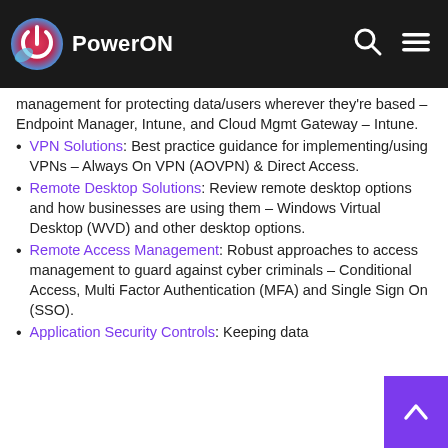[Figure (logo): PowerON logo with circular power icon in red/blue gradient and white text 'PowerON' on dark navbar]
management for protecting data/users wherever they're based – Endpoint Manager, Intune, and Cloud Mgmt Gateway – Intune.
VPN Solutions: Best practice guidance for implementing/using VPNs – Always On VPN (AOVPN) & Direct Access.
Remote Desktop Solutions: Review remote desktop options and how businesses are using them – Windows Virtual Desktop (WVD) and other desktop options.
Remote Access Management: Robust approaches to access management to guard against cyber criminals – Conditional Access, Multi Factor Authentication (MFA) and Single Sign On (SSO).
Application Security Controls: Keeping data